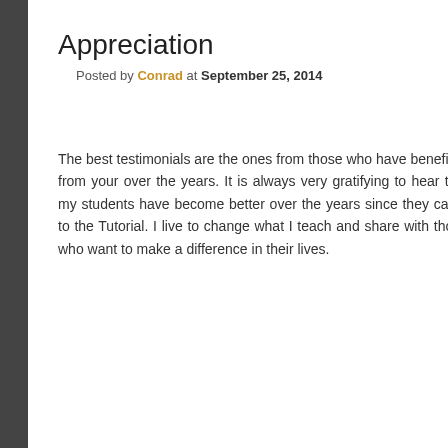Appreciation
Posted by Conrad at September 25, 2014
The best testimonials are the ones from those who have benefited from your over the years. It is always very gratifying to hear that my students have become better over the years since they came to the Tutorial. I live to change what I teach and share with those who want to make a difference in their lives.